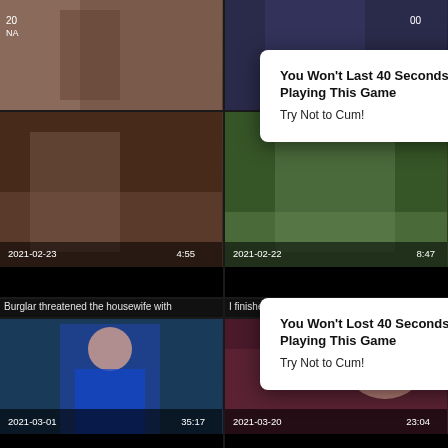[Figure (screenshot): Video thumbnail grid with two popup ad overlays. Top row: two video thumbnails partially visible. Second row: two thumbnails with dates 2021-02-23/4:55 and 2021-02-22/8:47, titles 'Burglar threatened the housewife with' and 'I finished in anal with a housekeeper'. Third row: two thumbnails with dates 2021-03-01/35:17 and 2021-03-20/23:04, titles 'NAUGHTY AMERICA - Married...' and 'Emily Addison - Cheating Housewives?'. Two white popup ads overlay the grid: 'You Won't Last 40 Seconds Playing This Game / Try Not to Cum!' and 'You Won't Lost 40 Seconds Playing This Game / Try Not to Cum!']